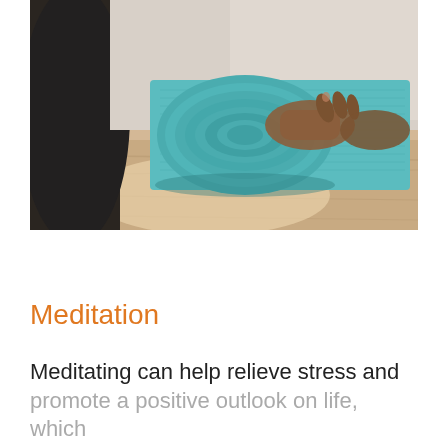[Figure (photo): Close-up photo of a person's hands rolling up a teal/turquoise yoga mat on a light wood floor. The person is wearing dark clothing visible on the left side. The image is taken from a low angle showing the mat being rolled.]
Meditation
Meditating can help relieve stress and promote a positive outlook on life, which can greatly boost serotonin levels...